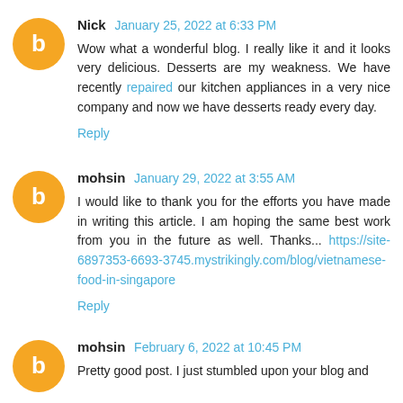Nick  January 25, 2022 at 6:33 PM
Wow what a wonderful blog. I really like it and it looks very delicious. Desserts are my weakness. We have recently repaired our kitchen appliances in a very nice company and now we have desserts ready every day.
Reply
mohsin  January 29, 2022 at 3:55 AM
I would like to thank you for the efforts you have made in writing this article. I am hoping the same best work from you in the future as well. Thanks... https://site-6897353-6693-3745.mystrikingly.com/blog/vietnamese-food-in-singapore
Reply
mohsin  February 6, 2022 at 10:45 PM
Pretty good post. I just stumbled upon your blog and